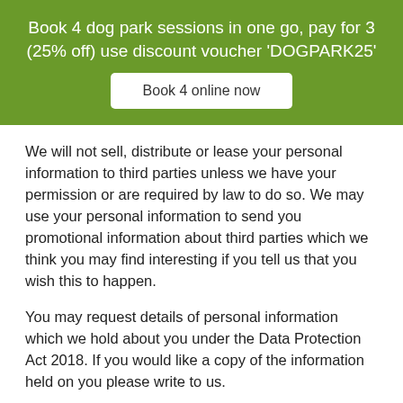Book 4 dog park sessions in one go, pay for 3 (25% off) use discount voucher 'DOGPARK25'
Book 4 online now
We will not sell, distribute or lease your personal information to third parties unless we have your permission or are required by law to do so. We may use your personal information to send you promotional information about third parties which we think you may find interesting if you tell us that you wish this to happen.
You may request details of personal information which we hold about you under the Data Protection Act 2018. If you would like a copy of the information held on you please write to us.
If you believe that any information we are holding on you is incorrect or incomplete, please write to or email us as soon as possible. We will promptly correct any information…